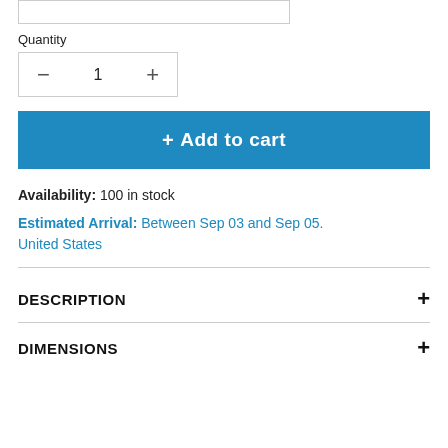[Figure (screenshot): Top portion of a product page showing a dropdown selector (None) partially visible at top]
Quantity
[Figure (other): Quantity selector control with minus button, 1, and plus button inside a bordered box]
+ Add to cart
Availability: 100 in stock
Estimated Arrival: Between Sep 03 and Sep 05. United States
DESCRIPTION
DIMENSIONS